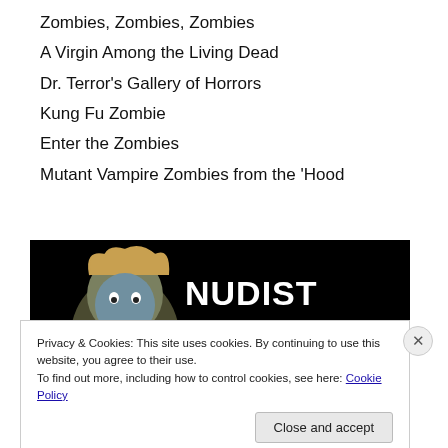Zombies, Zombies, Zombies
A Virgin Among the Living Dead
Dr. Terror’s Gallery of Horrors
Kung Fu Zombie
Enter the Zombies
Mutant Vampire Zombies from the ‘Hood
[Figure (photo): Movie poster/banner for 'Nudist Colony of the Dead' on a black background, showing white distressed block letters 'NUDIST COLONY' and 'OF THE' above red dripping 'DEAD' text, with a zombie figure on the left side.]
Privacy & Cookies: This site uses cookies. By continuing to use this website, you agree to their use.
To find out more, including how to control cookies, see here: Cookie Policy